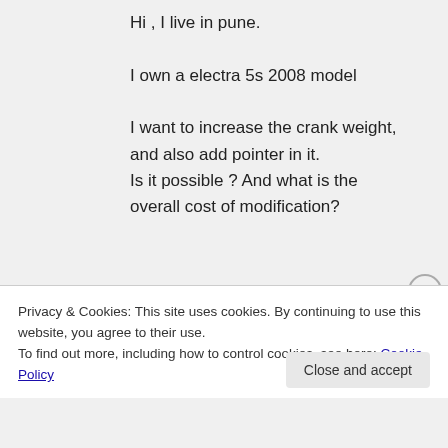Hi , I live in pune.
I own a electra 5s 2008 model
I want to increase the crank weight, and also add pointer in it.
Is it possible ? And what is the overall cost of modification?
Sony Arouje on August 13, 2018 at 9:27 am
Privacy & Cookies: This site uses cookies. By continuing to use this website, you agree to their use.
To find out more, including how to control cookies, see here: Cookie Policy